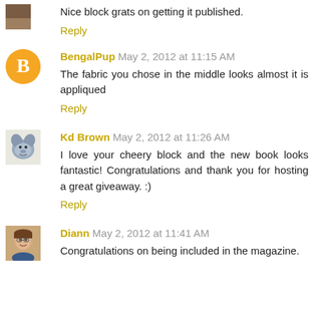Nice block grats on getting it published.
Reply
BengalPup May 2, 2012 at 11:15 AM
The fabric you chose in the middle looks almost it is appliqued
Reply
Kd Brown May 2, 2012 at 11:26 AM
I love your cheery block and the new book looks fantastic! Congratulations and thank you for hosting a great giveaway. :)
Reply
Diann May 2, 2012 at 11:41 AM
Congratulations on being included in the magazine.